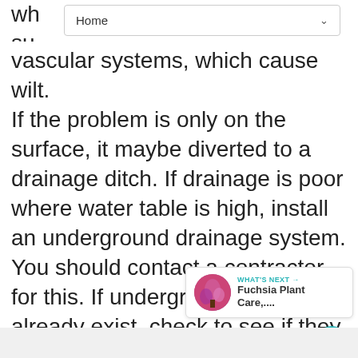Home
vascular systems, which cause wilt. If the problem is only on the surface, it maybe diverted to a drainage ditch. If drainage is poor where water table is high, install an underground drainage system. You should contact a contractor for this. If underground drains already exist, check to see if they are blocked.
[Figure (infographic): Heart/like button (teal circle with heart icon) with count of 1, and a share button below]
[Figure (infographic): What's Next card with thumbnail image of Fuchsia plant and text 'Fuchsia Plant Care,...']